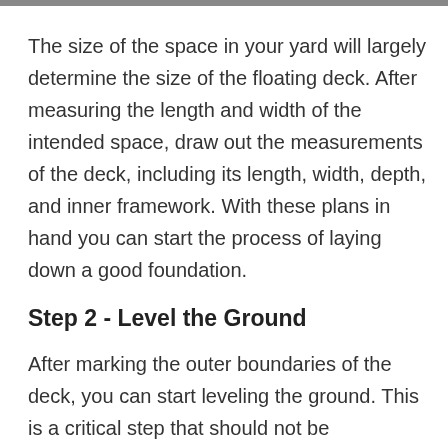The size of the space in your yard will largely determine the size of the floating deck. After measuring the length and width of the intended space, draw out the measurements of the deck, including its length, width, depth, and inner framework. With these plans in hand you can start the process of laying down a good foundation.
Step 2 - Level the Ground
After marking the outer boundaries of the deck, you can start leveling the ground. This is a critical step that should not be overlooked. If the ground